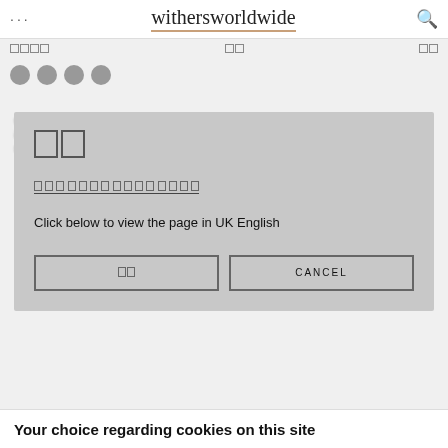withersworldwide
Click below to view the page in UK English
CANCEL
Your choice regarding cookies on this site